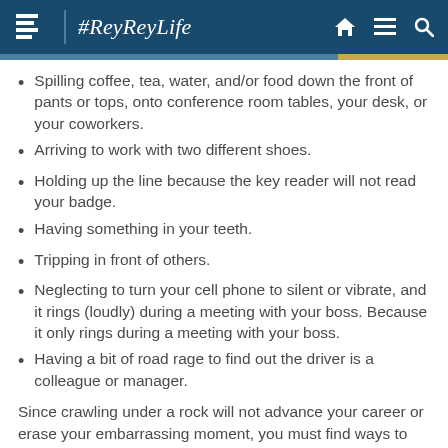#ReyReyLife
Spilling coffee, tea, water, and/or food down the front of pants or tops, onto conference room tables, your desk, or your coworkers.
Arriving to work with two different shoes.
Holding up the line because the key reader will not read your badge.
Having something in your teeth.
Tripping in front of others.
Neglecting to turn your cell phone to silent or vibrate, and it rings (loudly) during a meeting with your boss. Because it only rings during a meeting with your boss.
Having a bit of road rage to find out the driver is a colleague or manager.
Since crawling under a rock will not advance your career or erase your embarrassing moment, you must find ways to